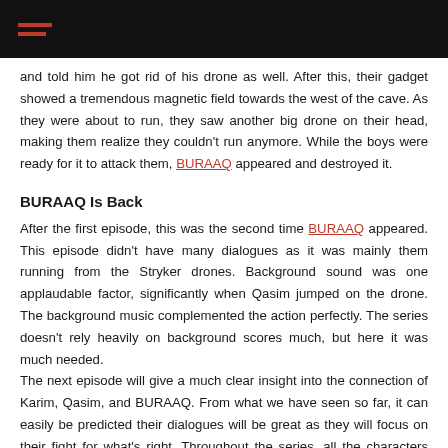≡ (hamburger menu icon)
and told him he got rid of his drone as well. After this, their gadget showed a tremendous magnetic field towards the west of the cave. As they were about to run, they saw another big drone on their head, making them realize they couldn't run anymore. While the boys were ready for it to attack them, BURAAQ appeared and destroyed it.
BURAAQ Is Back
After the first episode, this was the second time BURAAQ appeared. This episode didn't have many dialogues as it was mainly them running from the Stryker drones. Background sound was one applaudable factor, significantly when Qasim jumped on the drone. The background music complemented the action perfectly. The series doesn't rely heavily on background scores much, but here it was much needed.
The next episode will give a much clear insight into the connection of Karim, Qasim, and BURAAQ. From what we have seen so far, it can easily be predicted their dialogues will be great as they will focus on their fight for what's right. Throughout the series, all the characters had shown a